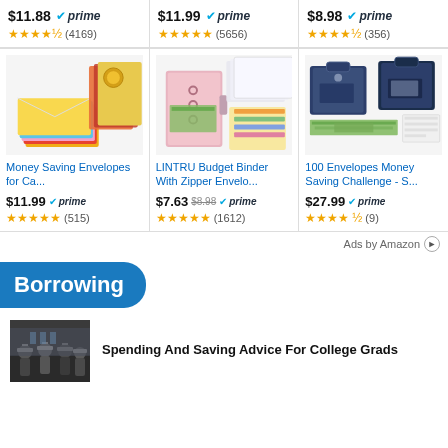$11.88 prime (4169)
$11.99 prime (5656)
$8.98 prime (356)
[Figure (photo): Colorful money saving envelopes fanned out in multiple colors]
[Figure (photo): Pink LINTRU budget binder with zipper envelopes and dividers]
[Figure (photo): Dark blue money saving challenge kit with cash and envelopes]
Money Saving Envelopes for Ca...
LINTRU Budget Binder With Zipper Envelo...
100 Envelopes Money Saving Challenge - S...
$11.99 prime (515)
$7.63 $8.98 prime (1612)
$27.99 prime (9)
Ads by Amazon
Borrowing
[Figure (photo): Group of college graduates in caps and gowns]
Spending And Saving Advice For College Grads